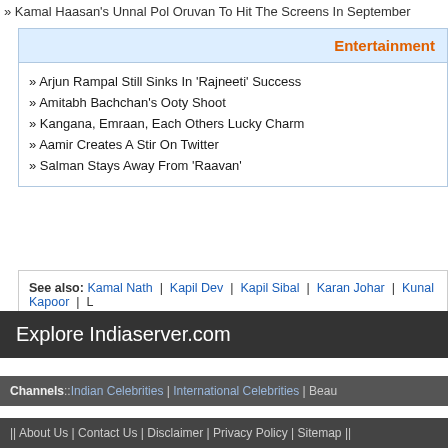» Kamal Haasan's Unnal Pol Oruvan To Hit The Screens In September
Entertainment
» Arjun Rampal Still Sinks In 'Rajneeti' Success
» Amitabh Bachchan's Ooty Shoot
» Kangana, Emraan, Each Others Lucky Charm
» Aamir Creates A Stir On Twitter
» Salman Stays Away From 'Raavan'
See also: Kamal Nath | Kapil Dev | Kapil Sibal | Karan Johar | Kunal Kapoor | L... Laloo Prasad Yadav | Leander Paes |
Explore Indiaserver.com
Channels::Indian Celebrities | International Celebrities | Beau...
|| About Us | Contact Us | Disclaimer | Privacy Policy | Sitemap ||